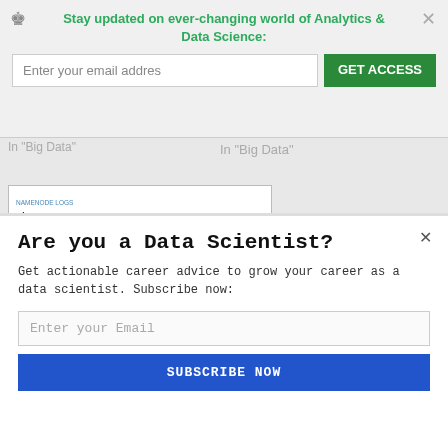Stay updated on ever-changing world of Analytics & Data Science:
Enter your email addres
GET ACCESS
January 11, 2013
In "Big Data"
January 10, 2013
In "Big Data"
[Figure (screenshot): Hadoop NameNode Logs page showing Cluster Summary with configured capacity 79.5 GB, DFS Used 71.26 MB, Non DFS Used 32.15 GB, DFS Remaining 47.29 GB, DFS Used% 0.09%, DFS Remaining% 59.15%, Live Nodes 1, Dead Nodes 0, Decommissioned Nodes 0]
Hadoop on Windows:
Are you a Data Scientist?
Get actionable career advice to grow your career as a data scientist. Subscribe now:
Enter your Email
SUBSCRIBE NOW